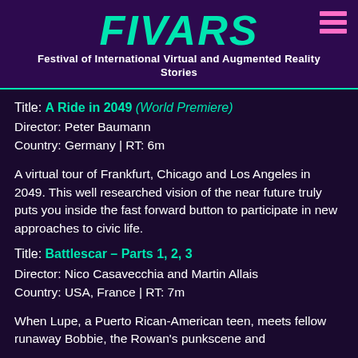FIVARS — Festival of International Virtual and Augmented Reality Stories
Title: A Ride in 2049 (World Premiere)
Director: Peter Baumann
Country: Germany | RT: 6m
A virtual tour of Frankfurt, Chicago and Los Angeles in 2049. This well researched vision of the near future truly puts you inside the fast forward button to participate in new approaches to civic life.
Title: Battlescar – Parts 1, 2, 3
Director: Nico Casavecchia and Martin Allais
Country: USA, France | RT: 7m
When Lupe, a Puerto Rican-American teen, meets fellow runaway Bobbie, the Rowan's punkscene and